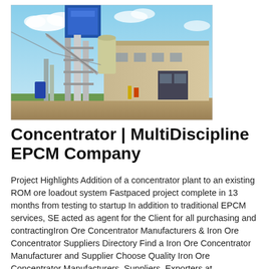[Figure (photo): Photograph of an industrial concentrator plant facility with tall metal structures, silos, conveyors, blue equipment at top, and a large beige warehouse building in the background under a blue sky with clouds.]
Concentrator | MultiDiscipline EPCM Company
Project Highlights Addition of a concentrator plant to an existing ROM ore loadout system Fastpaced project complete in 13 months from testing to startup In addition to traditional EPCM services, SE acted as agent for the Client for all purchasing and contractingIron Ore Concentrator Manufacturers & Iron Ore Concentrator Suppliers Directory Find a Iron Ore Concentrator Manufacturer and Supplier Choose Quality Iron Ore Concentrator Manufacturers, Suppliers, Exporters at